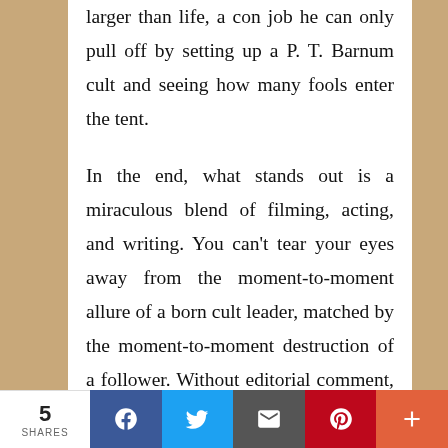larger than life, a con job he can only pull off by setting up a P. T. Barnum cult and seeing how many fools enter the tent.

In the end, what stands out is a miraculous blend of filming, acting, and writing. You can't tear your eyes away from the moment-to-moment allure of a born cult leader, matched by the moment-to-moment destruction of a follower. Without editorial comment, Anderson is asking if all of us have become hypnotized. The methods are timeless; only the flavor of the
5 SHARES | Facebook | Twitter | Email | Pinterest | More